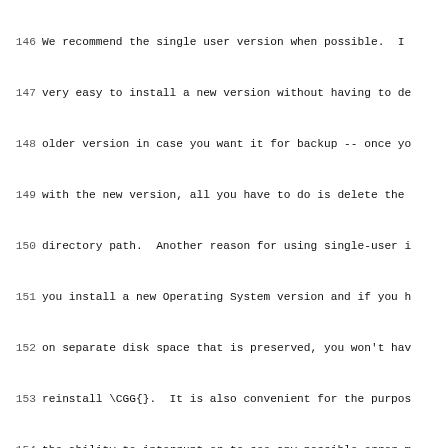Lines 146-178 of source code (LaTeX/documentation), showing text about CGG installation, system builds, enumerate environments, subsection and label commands.